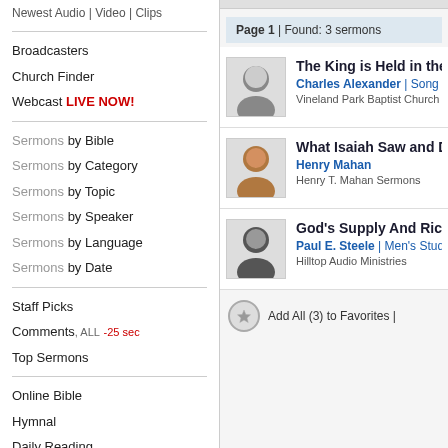Newest Audio | Video | Clips
Broadcasters
Church Finder
Webcast LIVE NOW!
Sermons by Bible
Sermons by Category
Sermons by Topic
Sermons by Speaker
Sermons by Language
Sermons by Date
Staff Picks
Comments, ALL -25 sec
Top Sermons
Online Bible
Hymnal
Daily Reading
Our Services
Broadcaster Dashboard
Members Only
Page 1 | Found: 3 sermons
The King is Held in the
Charles Alexander | Song of S
Vineland Park Baptist Church
What Isaiah Saw and D
Henry Mahan
Henry T. Mahan Sermons
God's Supply And Rich
Paul E. Steele | Men's Studies
Hilltop Audio Ministries
Add All (3) to Favorites |